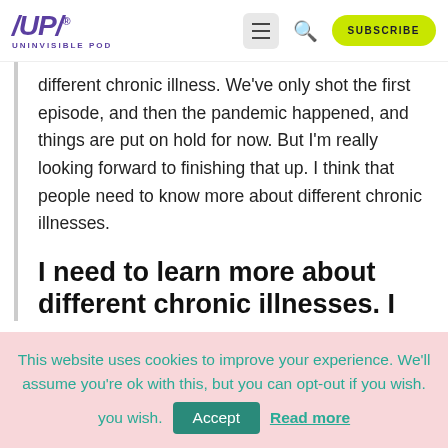[Figure (logo): /UP/ Uninvisible Pod logo in purple]
different chronic illness. We've only shot the first episode, and then the pandemic happened, and things are put on hold for now. But I'm really looking forward to finishing that up. I think that people need to know more about different chronic illnesses.
I need to learn more about different chronic illnesses. I
This website uses cookies to improve your experience. We'll assume you're ok with this, but you can opt-out if you wish.  Accept  Read more